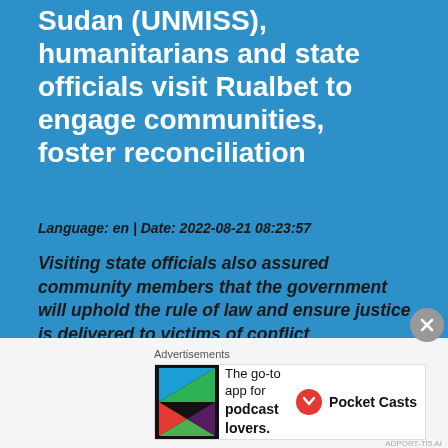Sudan (UNMISS), humanitarians and state officials visit Rualbet to engage communities, foster reconciliation
Language: en | Date: 2022-08-21 08:23:57
Visiting state officials also assured community members that the government will uphold the rule of law and ensure justice is delivered to victims of conflict
[Figure (logo): Circular emblem/logo at the bottom of the blue section]
Advertisements
[Figure (screenshot): Advertisement banner for Pocket Casts podcast app. Shows colorful triangular logo on left, text 'The go-to app for podcast lovers.' and Pocket Casts logo/name on right.]